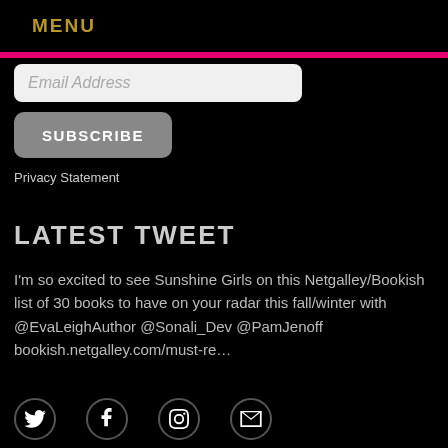MENU
Email Address
SUBSCRIBE
Privacy Statement
LATEST TWEET
I'm so excited to see Sunshine Girls on this Netgalley/Bookish list of 30 books to have on your radar this fall/winter with @EvaLeighAuthor @Sonali_Dev @PamJenoff bookish.netgalley.com/must-re…
[Figure (infographic): Social media icons: Twitter, Facebook, Instagram, Email]